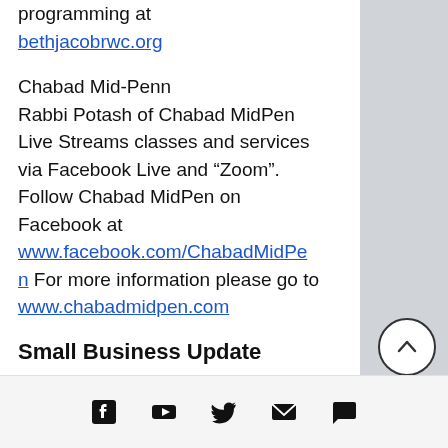programming at bethjacobrwc.org
Chabad Mid-Penn
Rabbi Potash of Chabad MidPen Live Streams classes and services via Facebook Live and “Zoom”. Follow Chabad MidPen on Facebook at www.facebook.com/ChabadMidPen For more information please go to www.chabadmidpen.com
Small Business Update
[Figure (infographic): Scroll-to-top circular button with upward arrow icon]
Social media icons: Facebook, YouTube, Twitter, Email, Chat